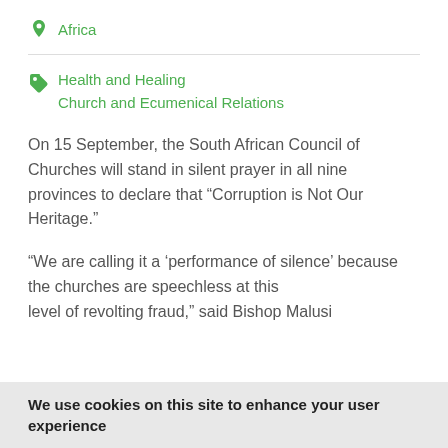Africa
Health and Healing
Church and Ecumenical Relations
On 15 September, the South African Council of Churches will stand in silent prayer in all nine provinces to declare that “Corruption is Not Our Heritage.”
“We are calling it a ‘performance of silence’ because the churches are speechless at this level of revolting fraud,” said Bishop Malusi
We use cookies on this site to enhance your user experience